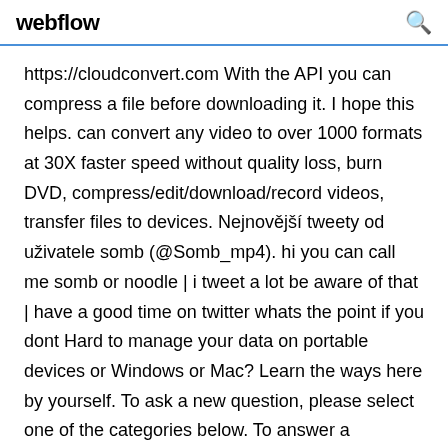webflow
https://cloudconvert.com With the API you can compress a file before downloading it. I hope this helps. can convert any video to over 1000 formats at 30X faster speed without quality loss, burn DVD, compress/edit/download/record videos, transfer files to devices. Nejnovější tweety od uživatele somb (@Somb_mp4). hi you can call me somb or noodle | i tweet a lot be aware of that | have a good time on twitter whats the point if you dont Hard to manage your data on portable devices or Windows or Mac? Learn the ways here by yourself. To ask a new question, please select one of the categories below. To answer a question, click on the "edit" link